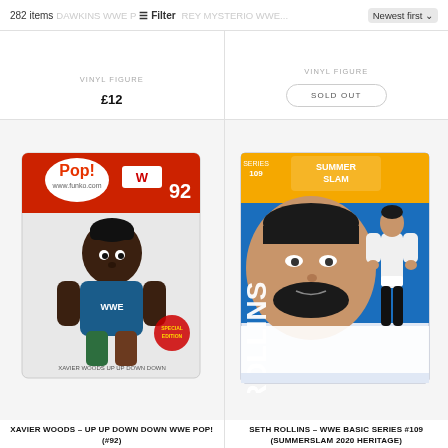282 items  DAWKINS WWE POP! (#94  Filter  REY MYSTERIO WWE...  Newest first
VINYL FIGURE
£12
VINYL FIGURE
SOLD OUT
[Figure (photo): Xavier Woods Up Up Down Down WWE Pop! Funko Pop vinyl figure #92 in box]
XAVIER WOODS – UP UP DOWN DOWN WWE POP! (#92)
VINYL FIGURE
[Figure (photo): Seth Rollins WWE Basic Series #109 SummerSlam 2020 Heritage action figure in packaging]
SETH ROLLINS – WWE BASIC SERIES #109 (SUMMERSLAM 2020 HERITAGE)
ACTION FIGURE